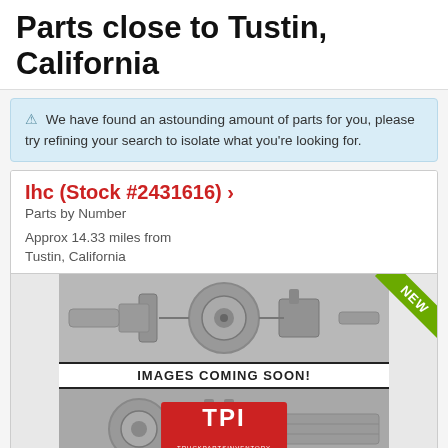Parts close to Tustin, California
We have found an astounding amount of parts for you, please try refining your search to isolate what you're looking for.
Ihc (Stock #2431616) >
Parts by Number
Approx 14.33 miles from Tustin, California
[Figure (photo): Car engine parts placeholder image with IMAGES COMING SOON! label and TPI (Truck Parts Inventory) logo overlay]